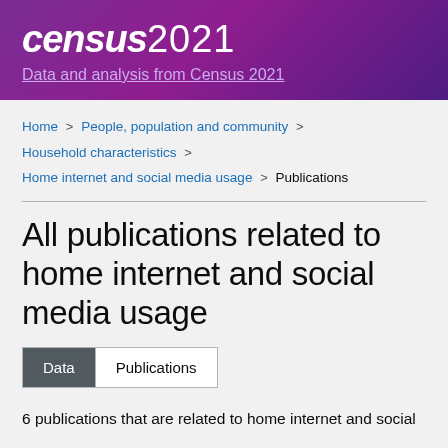census 2021 | Data and analysis from Census 2021
Home > People, population and community > Household characteristics > Home internet and social media usage > Publications
All publications related to home internet and social media usage
Data | Publications
6 publications that are related to home internet and social